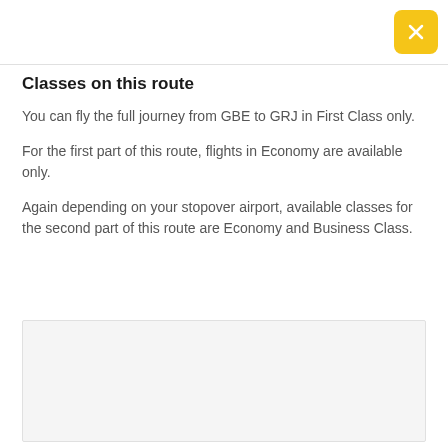Classes on this route
You can fly the full journey from GBE to GRJ in First Class only.
For the first part of this route, flights in Economy are available only.
Again depending on your stopover airport, available classes for the second part of this route are Economy and Business Class.
ADVERTISEMENT